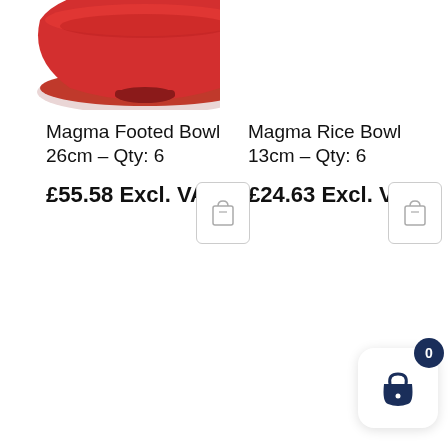[Figure (photo): Red Magma Footed Bowl 26cm product image, partially visible at top of page]
Magma Footed Bowl 26cm – Qty: 6
£55.58 Excl. VAT
Magma Rice Bowl 13cm – Qty: 6
£24.63 Excl. VAT